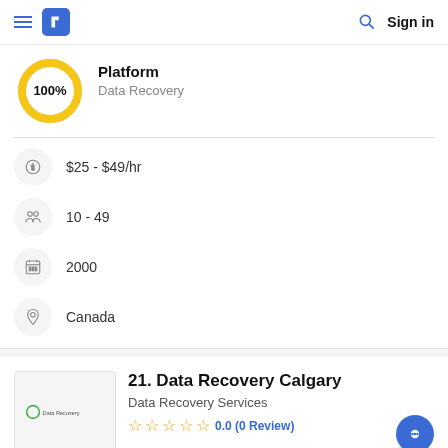Sign in
[Figure (infographic): Donut chart showing 100% with yellow ring]
Platform
Data Recovery
$25 - $49/hr
10 - 49
2000
Canada
21. Data Recovery Calgary
Data Recovery Services
0.0 (0 Review)